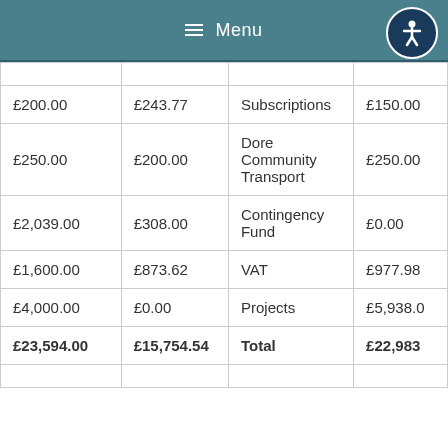Menu
| £200.00 | £243.77 | Subscriptions | £150.00 |
| £250.00 | £200.00 | Dore Community Transport | £250.00 |
| £2,039.00 | £308.00 | Contingency Fund | £0.00 |
| £1,600.00 | £873.62 | VAT | £977.98 |
| £4,000.00 | £0.00 | Projects | £5,938.0 |
| £23,594.00 | £15,754.54 | Total | £22,983 |